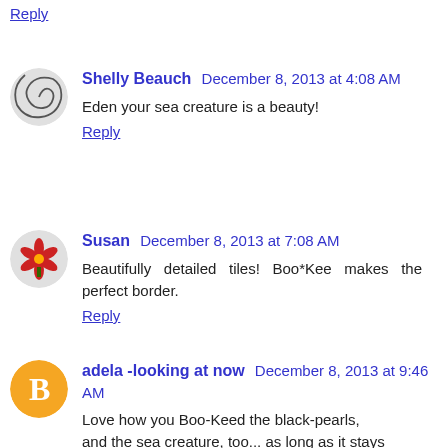Reply
Shelly Beauch  December 8, 2013 at 4:08 AM
Eden your sea creature is a beauty!
Reply
Susan  December 8, 2013 at 7:08 AM
Beautifully detailed tiles! Boo*Kee makes the perfect border.
Reply
adela -looking at now  December 8, 2013 at 9:46 AM
Love how you Boo-Keed the black-pearls,
and the sea creature, too... as long as it stays
out of my bathtub.